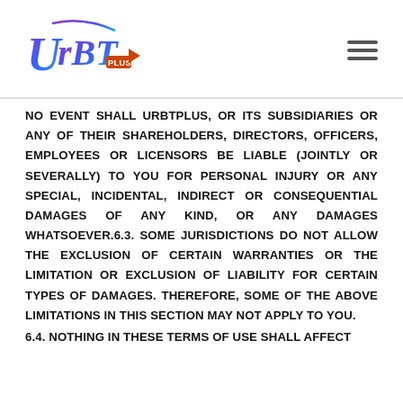[Figure (logo): URBTPlus logo with colorful stylized lettering and a play button icon]
NO EVENT SHALL URBTPlus, OR ITS SUBSIDIARIES OR ANY OF THEIR SHAREHOLDERS, DIRECTORS, OFFICERS, EMPLOYEES OR LICENSORS BE LIABLE (JOINTLY OR SEVERALLY) TO YOU FOR PERSONAL INJURY OR ANY SPECIAL, INCIDENTAL, INDIRECT OR CONSEQUENTIAL DAMAGES OF ANY KIND, OR ANY DAMAGES WHATSOEVER.6.3. SOME JURISDICTIONS DO NOT ALLOW THE EXCLUSION OF CERTAIN WARRANTIES OR THE LIMITATION OR EXCLUSION OF LIABILITY FOR CERTAIN TYPES OF DAMAGES. THEREFORE, SOME OF THE ABOVE LIMITATIONS IN THIS SECTION MAY NOT APPLY TO YOU.
6.4. NOTHING IN THESE TERMS OF USE SHALL AFFECT